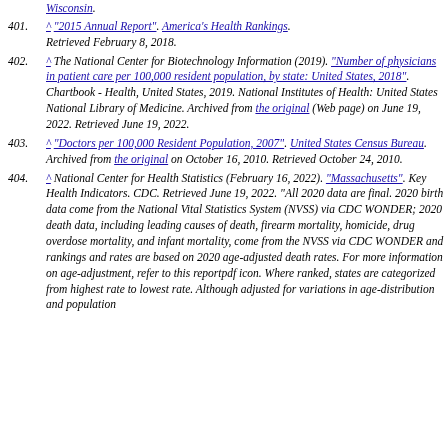Wisconsin.
401. ^ "2015 Annual Report". America's Health Rankings. Retrieved February 8, 2018.
402. ^ The National Center for Biotechnology Information (2019). "Number of physicians in patient care per 100,000 resident population, by state: United States, 2018". Chartbook - Health, United States, 2019. National Institutes of Health: United States National Library of Medicine. Archived from the original (Web page) on June 19, 2022. Retrieved June 19, 2022.
403. ^ "Doctors per 100,000 Resident Population, 2007". United States Census Bureau. Archived from the original on October 16, 2010. Retrieved October 24, 2010.
404. ^ National Center for Health Statistics (February 16, 2022). "Massachusetts". Key Health Indicators. CDC. Retrieved June 19, 2022. "All 2020 data are final. 2020 birth data come from the National Vital Statistics System (NVSS) via CDC WONDER; 2020 death data, including leading causes of death, firearm mortality, homicide, drug overdose mortality, and infant mortality, come from the NVSS via CDC WONDER and rankings and rates are based on 2020 age-adjusted death rates. For more information on age-adjustment, refer to this reportpdf icon. Where ranked, states are categorized from highest rate to lowest rate. Although adjusted for variations in age-distribution and population the differences between state estimates are not...